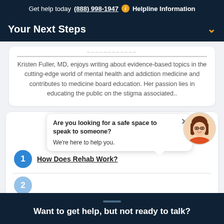Get help today (888) 998-1947  i  Helpline Information
Your Next Steps
Kristen Fuller, MD, enjoys writing about evidence-based topics in the cutting-edge world of mental health and addiction medicine and contributes to medicine board education. Her passion lies in educating the public on the stigma associated..
Are you looking for a safe space to speak to someone? We're here to help you.
1 How Does Rehab Work?
Want to get help, but not ready to talk?